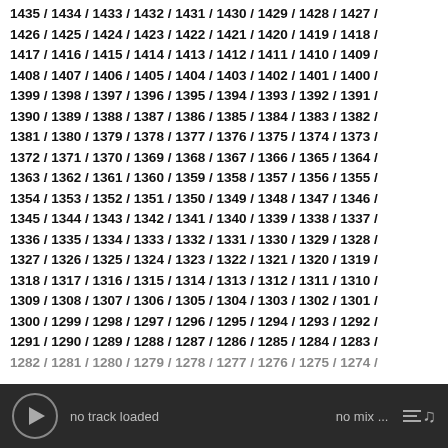1435 / 1434 / 1433 / 1432 / 1431 / 1430 / 1429 / 1428 / 1427 / 1426 / 1425 / 1424 / 1423 / 1422 / 1421 / 1420 / 1419 / 1418 / 1417 / 1416 / 1415 / 1414 / 1413 / 1412 / 1411 / 1410 / 1409 / 1408 / 1407 / 1406 / 1405 / 1404 / 1403 / 1402 / 1401 / 1400 / 1399 / 1398 / 1397 / 1396 / 1395 / 1394 / 1393 / 1392 / 1391 / 1390 / 1389 / 1388 / 1387 / 1386 / 1385 / 1384 / 1383 / 1382 / 1381 / 1380 / 1379 / 1378 / 1377 / 1376 / 1375 / 1374 / 1373 / 1372 / 1371 / 1370 / 1369 / 1368 / 1367 / 1366 / 1365 / 1364 / 1363 / 1362 / 1361 / 1360 / 1359 / 1358 / 1357 / 1356 / 1355 / 1354 / 1353 / 1352 / 1351 / 1350 / 1349 / 1348 / 1347 / 1346 / 1345 / 1344 / 1343 / 1342 / 1341 / 1340 / 1339 / 1338 / 1337 / 1336 / 1335 / 1334 / 1333 / 1332 / 1331 / 1330 / 1329 / 1328 / 1327 / 1326 / 1325 / 1324 / 1323 / 1322 / 1321 / 1320 / 1319 / 1318 / 1317 / 1316 / 1315 / 1314 / 1313 / 1312 / 1311 / 1310 / 1309 / 1308 / 1307 / 1306 / 1305 / 1304 / 1303 / 1302 / 1301 / 1300 / 1299 / 1298 / 1297 / 1296 / 1295 / 1294 / 1293 / 1292 / 1291 / 1290 / 1289 / 1288 / 1287 / 1286 / 1285 / 1284 / 1283 / 1282 / 1281 / 1280 / 1279 / 1278 / 1277 / 1276 / 1275 / 1274
no track loaded   no mix ...